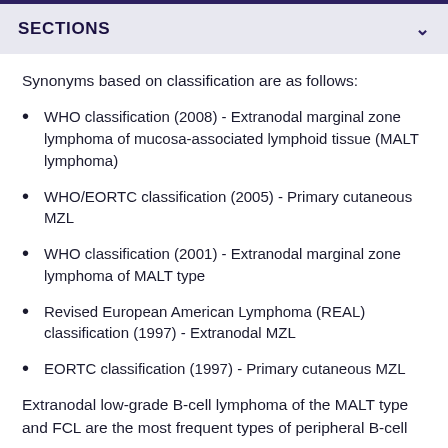SECTIONS
Synonyms based on classification are as follows:
WHO classification (2008) - Extranodal marginal zone lymphoma of mucosa-associated lymphoid tissue (MALT lymphoma)
WHO/EORTC classification (2005) - Primary cutaneous MZL
WHO classification (2001) - Extranodal marginal zone lymphoma of MALT type
Revised European American Lymphoma (REAL) classification (1997) - Extranodal MZL
EORTC classification (1997) - Primary cutaneous MZL
Extranodal low-grade B-cell lymphoma of the MALT type and FCL are the most frequent types of peripheral B-cell